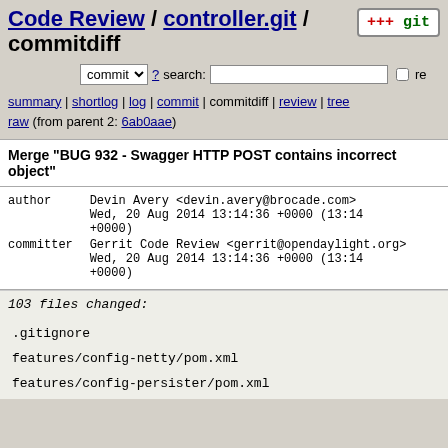Code Review / controller.git / commitdiff
commit search: re
summary | shortlog | log | commit | commitdiff | review | tree
raw (from parent 2: 6ab0aae)
Merge "BUG 932 - Swagger HTTP POST contains incorrect object"
| field | value |
| --- | --- |
| author | Devin Avery <devin.avery@brocade.com>
Wed, 20 Aug 2014 13:14:36 +0000 (13:14 +0000) |
| committer | Gerrit Code Review <gerrit@opendaylight.org>
Wed, 20 Aug 2014 13:14:36 +0000 (13:14 +0000) |
103 files changed:
.gitignore
features/config-netty/pom.xml
features/config-persister/pom.xml